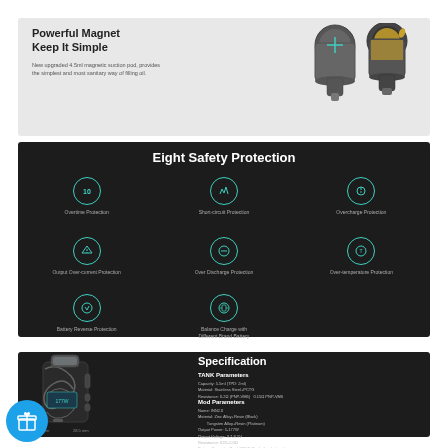Powerful Magnet Keep It Simple
New upgraded 4.5ml magnetic suction pod, provides the simplest and most sanitary way of filling oil.
[Figure (illustration): Two vape pod cartridges shown from above, one closed and one open with gold liquid]
Eight Safety Protection
[Figure (infographic): Eight safety protection icons in a 3x3 grid layout with teal circle borders on dark background: Overtime Protection, Short-circuit Protection, Overcharge Protection, Output Over-current Protection, Over Discharge Protection, Over-temperature Protection, Battery Reverse Protection, Balance Charge with Different Brand Battery]
[Figure (photo): Vape mod device with black swirl pattern resin body and tank on dark background]
Specification
TANK Parameters
Capacity: 5.5ml (TPD: 2ml)
Material: Stainless Steel+PCTG
Resistance: 0.2Ω (PNP-VM6)   0.15Ω PNP-VM6
Mod Parameters
Name: INN2.0
Material: Zinc Alloy+Resin (Black)
          Tungsten Alloy+Resin (Platinum)
Output Power: 5-177W
Output Voltage: 3.7-8.5V
Resistance: 0.05-5.0Ω
Battery Capacity: Dual 18650 (Excluding battery)